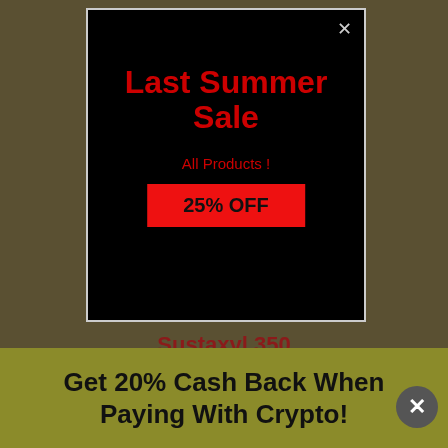[Figure (screenshot): Dark background website with a popup modal overlay showing Last Summer Sale promotion]
Last Summer Sale
All Products !
25% OFF
Sustaxyl 350
TESTOSTERONE BLEND 350 MG INJECTION
Get 20% Cash Back When Paying With Crypto!